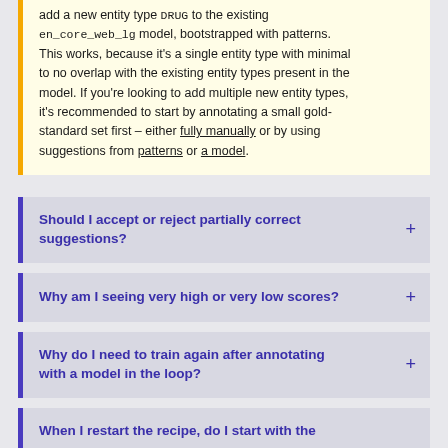add a new entity type DRUG to the existing en_core_web_lg model, bootstrapped with patterns. This works, because it's a single entity type with minimal to no overlap with the existing entity types present in the model. If you're looking to add multiple new entity types, it's recommended to start by annotating a small gold-standard set first – either fully manually or by using suggestions from patterns or a model.
Should I accept or reject partially correct suggestions?
Why am I seeing very high or very low scores?
Why do I need to train again after annotating with a model in the loop?
When I restart the recipe, do I start with the